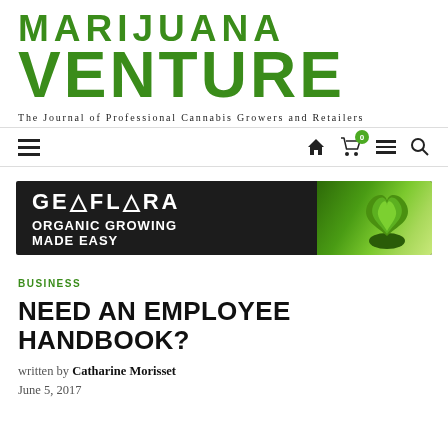MARIJUANA VENTURE
The Journal of Professional Cannabis Growers and Retailers
[Figure (screenshot): Navigation bar with hamburger menu on left and icons (home, cart with badge 0, menu, search) on right]
[Figure (illustration): Geoflora advertisement banner: dark background with GEOFLORA logo text and ORGANIC GROWING MADE EASY tagline, cannabis plant image on right]
BUSINESS
NEED AN EMPLOYEE HANDBOOK?
written by Catharine Morisset
June 5, 2017